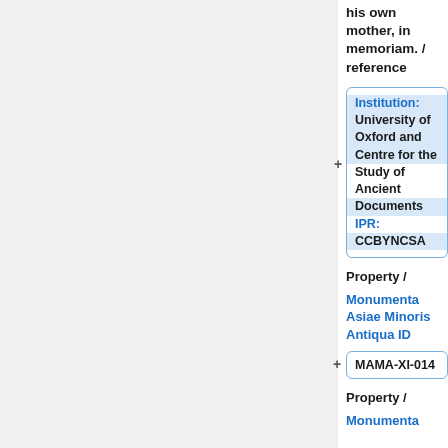his own mother, in memoriam. / reference
Institution: University of Oxford and Centre for the Study of Ancient Documents IPR: CCBYNCSA
Property / Monumenta Asiae Minoris Antiqua ID
MAMA-XI-014
Property / Monumenta